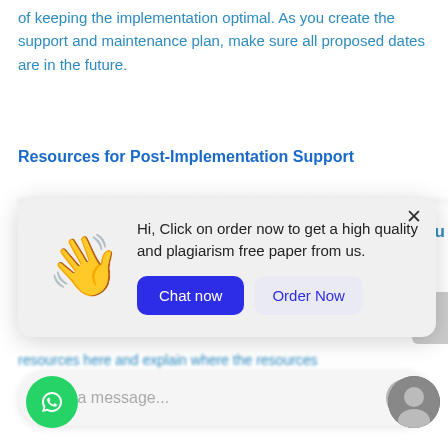of keeping the implementation optimal. As you create the support and maintenance plan, make sure all proposed dates are in the future.
Resources for Post-Implementation Support
[blurred partial text line]
[Figure (screenshot): Chat popup overlay with waving hand emoji, message 'Hi, Click on order now to get a high quality and plagiarism free paper from us.', and two buttons: 'Chat now' (blue) and 'Order Now' (light).]
resources here and explain where the resources
[Figure (screenshot): Chat input bar at the bottom with placeholder 'Write a message...' and a send button arrow. WhatsApp icon at bottom left. User avatar at bottom right.]